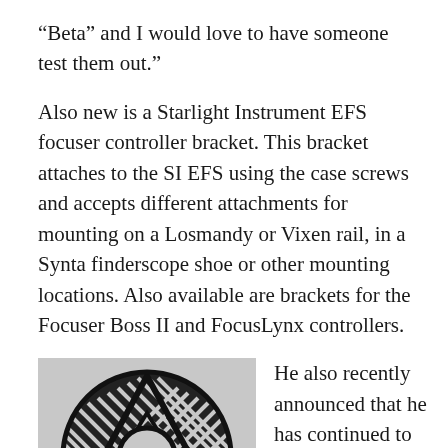“Beta” and I would love to have someone test them out.”
Also new is a Starlight Instrument EFS focuser controller bracket. This bracket attaches to the SI EFS using the case screws and accepts different attachments for mounting on a Losmandy or Vixen rail, in a Synta finderscope shoe or other mounting locations. Also available are brackets for the Focuser Boss II and FocusLynx controllers.
[Figure (photo): A black 3D-printed circular ring/disc with a geometric pattern of diagonal stripes arranged in triangular segments around a central circular hole. The object appears to be a telescope or focuser accessory bracket.]
He also recently announced that he has continued to expand